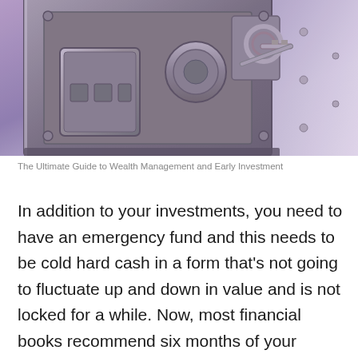[Figure (photo): Close-up photograph of a bank vault door with metallic locking mechanisms, bolts, and keys, set against a purple-tinted metallic background.]
The Ultimate Guide to Wealth Management and Early Investment
In addition to your investments, you need to have an emergency fund and this needs to be cold hard cash in a form that’s not going to fluctuate up and down in value and is not locked for a while. Now, most financial books recommend six months of your monthly expenses. In my experience, you can